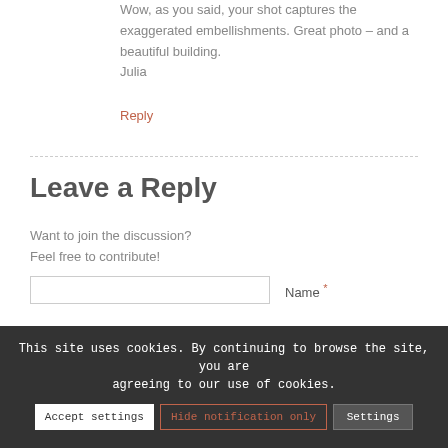Wow, as you said, your shot captures the exaggerated embellishments. Great photo – and a beautiful building.
Julia
Reply
Leave a Reply
Want to join the discussion?
Feel free to contribute!
Name *
This site uses cookies. By continuing to browse the site, you are agreeing to our use of cookies.
Accept settings
Hide notification only
Settings